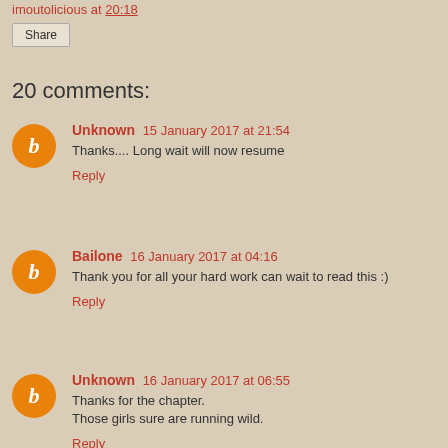imoutolicious at 20:18
Share
20 comments:
Unknown 15 January 2017 at 21:54
Thanks.... Long wait will now resume
Reply
Bailone 16 January 2017 at 04:16
Thank you for all your hard work can wait to read this :)
Reply
Unknown 16 January 2017 at 06:55
Thanks for the chapter.
Those girls sure are running wild.
Reply